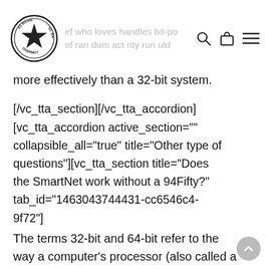El Banie Overmoy — header with logo and navigation icons
more effectively than a 32-bit system.
[/vc_tta_section][/vc_tta_accordion]
[vc_tta_accordion active_section=""
collapsible_all="true" title="Other type of
questions"][vc_tta_section title="Does
the SmartNet work without a 94Fifty?"
tab_id="1463043744431-cc6546c4-
9f72"]
The terms 32-bit and 64-bit refer to the
way a computer’s processor (also called a
CPU) handles information. The 64-bit